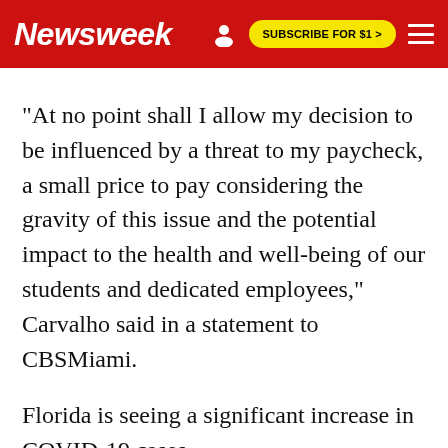Newsweek | SUBSCRIBE FOR $1 >
"At no point shall I allow my decision to be influenced by a threat to my paycheck, a small price to pay considering the gravity of this issue and the potential impact to the health and well-being of our students and dedicated employees," Carvalho said in a statement to CBSMiami.
Florida is seeing a significant increase in COVID-19 cases.